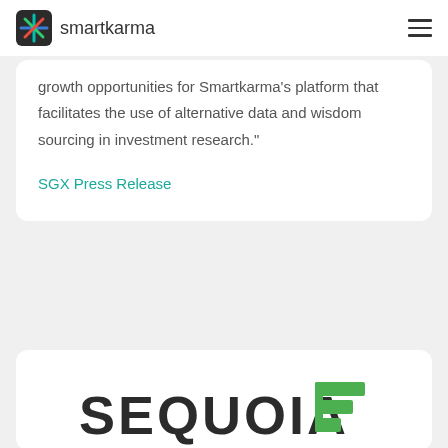smartkarma
growth opportunities for Smartkarma's platform that facilitates the use of alternative data and wisdom sourcing in investment research."
SGX Press Release
[Figure (logo): Sequoia logo with wordmark 'SEQUOIA' in bold dark letters and a green stylized leaf/stripe icon to the right]
"The traditional equity research model has been broken for a while. Smartkarma is